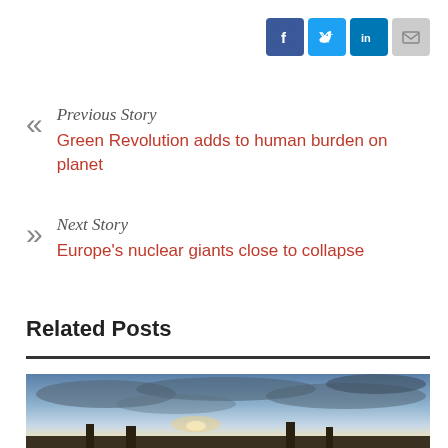[Figure (infographic): Social media sharing icons: Facebook (blue), Twitter (light blue), LinkedIn (dark blue), Email (grey)]
Previous Story
Green Revolution adds to human burden on planet
Next Story
Europe's nuclear giants close to collapse
Related Posts
[Figure (photo): Outdoor landscape photo showing a dramatic cloudy sky at dusk or dawn with silhouettes of structures at the bottom]